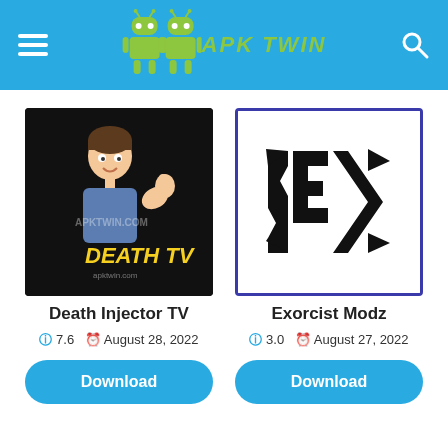APK TWIN
[Figure (logo): Death Injector TV app icon - cartoon boy giving thumbs up on black background with 'DEATH TV' text and APKTWIN.COM watermark]
Death Injector TV
7.6   August 28, 2022
Download
[Figure (logo): Exorcist Modz app icon - stylized angular metallic logo on white background with blue border]
Exorcist Modz
3.0   August 27, 2022
Download